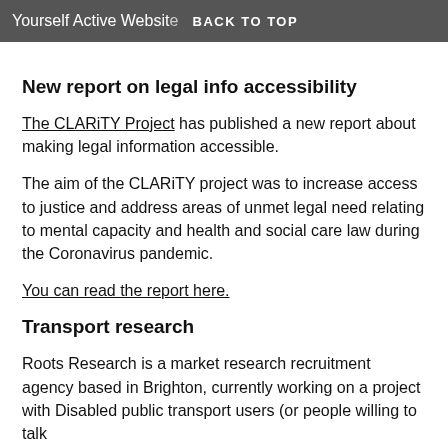Yourself Active Website  BACK TO TOP
New report on legal info accessibility
The CLARiTY Project has published a new report about making legal information accessible.
The aim of the CLARiTY project was to increase access to justice and address areas of unmet legal need relating to mental capacity and health and social care law during the Coronavirus pandemic.
You can read the report here.
Transport research
Roots Research is a market research recruitment agency based in Brighton, currently working on a project with Disabled public transport users (or people willing to talk